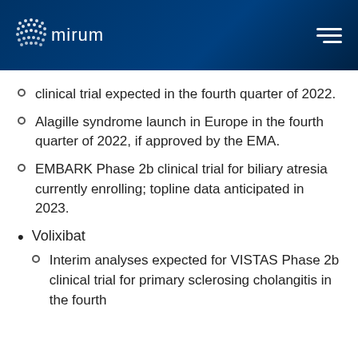mirum
clinical trial expected in the fourth quarter of 2022.
Alagille syndrome launch in Europe in the fourth quarter of 2022, if approved by the EMA.
EMBARK Phase 2b clinical trial for biliary atresia currently enrolling; topline data anticipated in 2023.
Volixibat
Interim analyses expected for VISTAS Phase 2b clinical trial for primary sclerosing cholangitis in the fourth